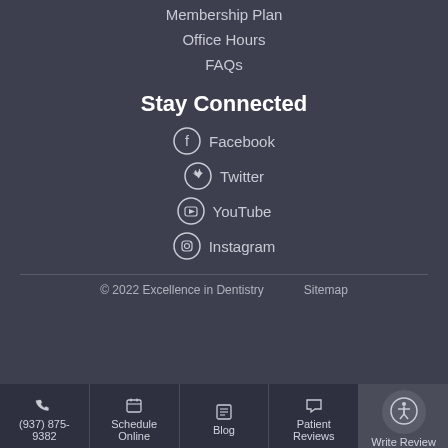Membership Plan
Office Hours
FAQs
Stay Connected
Facebook
Twitter
YouTube
Instagram
© 2022 Excellence in Dentistry   Sitemap
(937) 875-9382  Schedule Online  Blog  Patient Reviews  Write Review